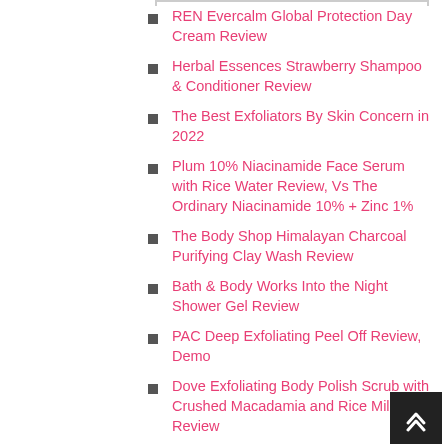REN Evercalm Global Protection Day Cream Review
Herbal Essences Strawberry Shampoo & Conditioner Review
The Best Exfoliators By Skin Concern in 2022
Plum 10% Niacinamide Face Serum with Rice Water Review, Vs The Ordinary Niacinamide 10% + Zinc 1%
The Body Shop Himalayan Charcoal Purifying Clay Wash Review
Bath & Body Works Into the Night Shower Gel Review
PAC Deep Exfoliating Peel Off Review, Demo
Dove Exfoliating Body Polish Scrub with Crushed Macadamia and Rice Milk Review
Bath & Body Works Warm Vanilla Sugar Body Lotion Review